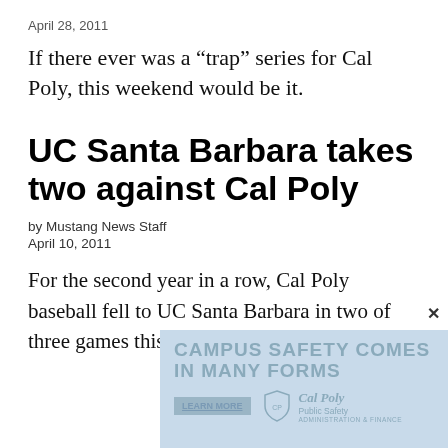April 28, 2011
If there ever was a “trap” series for Cal Poly, this weekend would be it.
UC Santa Barbara takes two against Cal Poly
by Mustang News Staff
April 10, 2011
For the second year in a row, Cal Poly baseball fell to UC Santa Barbara in two of three games this weekend.
[Figure (other): Cal Poly Public Safety advertisement banner with text CAMPUS SAFETY COMES IN MANY FORMS and a Learn More button, featuring Cal Poly Public Safety logo]